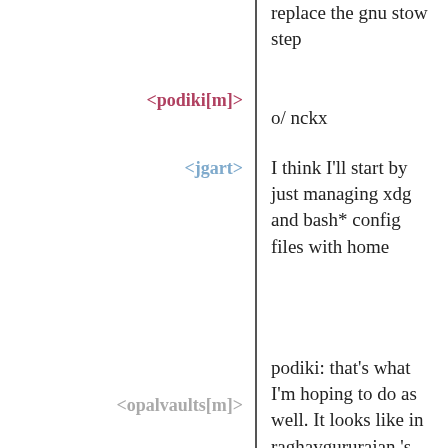replace the gnu stow step
<podiki[m]>
o/ nckx
<jgart>
I think I'll start by just managing xdg and bash* config files with home
<opalvaults[m]>
podiki: that's what I'm hoping to do as well. It looks like in raghavgururajan 's config there's a lot of code dealing with basically copying dotfiles from a git backed directory to it's